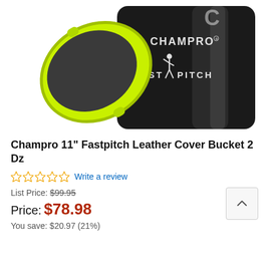[Figure (photo): Product photo of Champro 11-inch Fastpitch Leather Cover Bucket showing a black cylindrical bucket with neon green lid, branded with CHAMPRO FAST PITCH logo and a female pitcher silhouette]
Champro 11" Fastpitch Leather Cover Bucket 2 Dz
☆☆☆☆☆ Write a review
List Price: $99.95
Price: $78.98
You save: $20.97 (21%)